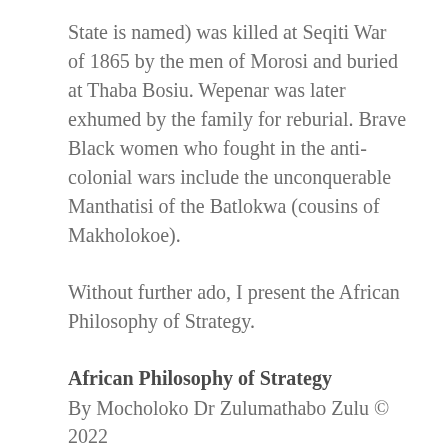State is named) was killed at Seqiti War of 1865 by the men of Morosi and buried at Thaba Bosiu. Wepenar was later exhumed by the family for reburial. Brave Black women who fought in the anti-colonial wars include the unconquerable Manthatisi of the Batlokwa (cousins of Makholokoe).
Without further ado, I present the African Philosophy of Strategy.
African Philosophy of Strategy
By Mocholoko Dr Zulumathabo Zulu © 2022
They confer 1% inspiration
To overcome 99% frustration
Lift is engine of strategy
To transcend force of gravity
We obviate forces that subtract